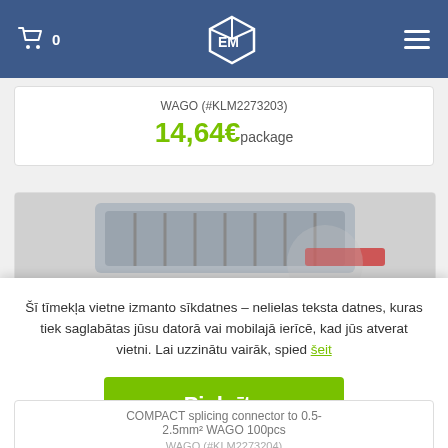0 [cart icon] [logo] [menu]
WAGO (#KLM2273203)
14,64€ package
[Figure (photo): Partial view of a WAGO splicing connector product image]
Šī tīmekļa vietne izmanto sīkdatnes – nelielas teksta datnes, kuras tiek saglabātas jūsu datorā vai mobilajā ierīcē, kad jūs atverat vietni. Lai uzzinātu vairāk, spied šeit
Piekrītu
COMPACT splicing connector to 0.5-2.5mm² WAGO 100pcs
WAGO (#KLM2273204)